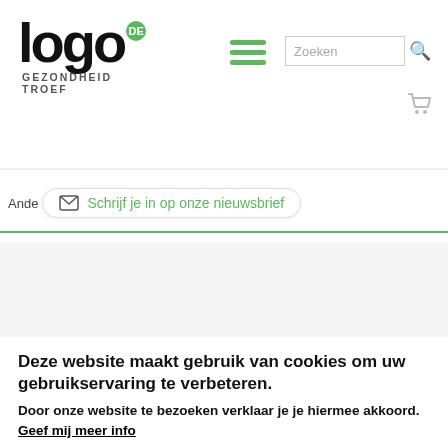[Figure (logo): Logo Gezondheid Troef with 'DE' green circle badge, black bold text 'logo', subtitle 'GEZONDHEID TROEF']
[Figure (infographic): Hamburger menu icon (3 green horizontal bars)]
[Figure (infographic): Search input box with placeholder 'Zoeken' and magnifier icon]
[Figure (infographic): Shopping cart icon]
Ande
Schrijf je in op onze nieuwsbrief
Sectoren
- Alles -
Thema's
- Alles -
Type vorming
- Alles -
[Figure (illustration): Colorful cartoon monsters/characters illustration (children health theme)]
[Figure (photo): Photo of people with circular badge text 'WIJ DOEN HET EN WAT DOE']
Deze website maakt gebruik van cookies om uw gebruikservaring te verbeteren.
Door onze website te bezoeken verklaar je je hiermee akkoord.
Geef mij meer info